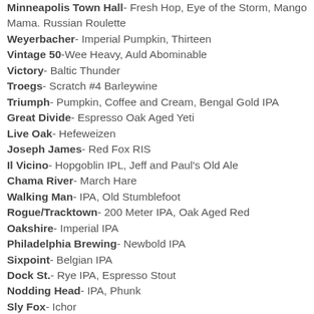Minneapolis Town Hall- Fresh Hop, Eye of the Storm, Mango Mama. Russian Roulette
Weyerbacher- Imperial Pumpkin, Thirteen
Vintage 50-Wee Heavy, Auld Abominable
Victory- Baltic Thunder
Troegs- Scratch #4 Barleywine
Triumph- Pumpkin, Coffee and Cream, Bengal Gold IPA
Great Divide- Espresso Oak Aged Yeti
Live Oak- Hefeweizen
Joseph James- Red Fox RIS
Il Vicino- Hopgoblin IPL, Jeff and Paul's Old Ale
Chama River- March Hare
Walking Man- IPA, Old Stumblefoot
Rogue/Tracktown- 200 Meter IPA, Oak Aged Red
Oakshire- Imperial IPA
Philadelphia Brewing- Newbold IPA
Sixpoint- Belgian IPA
Dock St.- Rye IPA, Espresso Stout
Nodding Head- IPA, Phunk
Sly Fox- Ichor
Stoudt's- Smooth Hoperator
Iron Hill- Belgian IPA, IPA
Stewart's- Old Perculator Coffee Stout